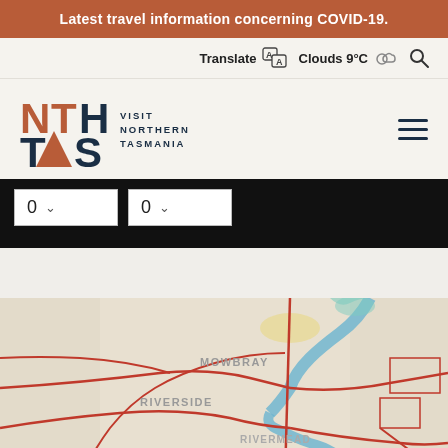Latest travel information concerning COVID-19.
Translate | Clouds 9°C
[Figure (logo): NTH TAS Visit Northern Tasmania logo with orange and dark navy letters and triangle A]
0  ∨    0  ∨
[Figure (map): Street map showing suburbs including Riverside, Mowbray, Rivermead, Ravenswood with red road outlines and blue river]